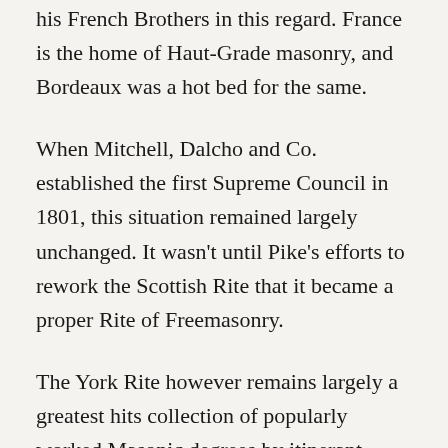his French Brothers in this regard. France is the home of Haut-Grade masonry, and Bordeaux was a hot bed for the same.
When Mitchell, Dalcho and Co. established the first Supreme Council in 1801, this situation remained largely unchanged. It wasn't until Pike's efforts to rework the Scottish Rite that it became a proper Rite of Freemasonry.
The York Rite however remains largely a greatest hits collection of popularly worked Masonic degrees by itinerant Masonic lecturers. It is a catalog of the American Masonic experience. While some of these